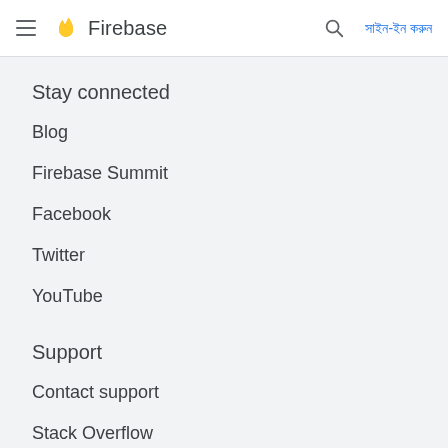Firebase — সাইন-ইন করুন
Stay connected
Blog
Firebase Summit
Facebook
Twitter
YouTube
Support
Contact support
Stack Overflow
Slack community
Google group